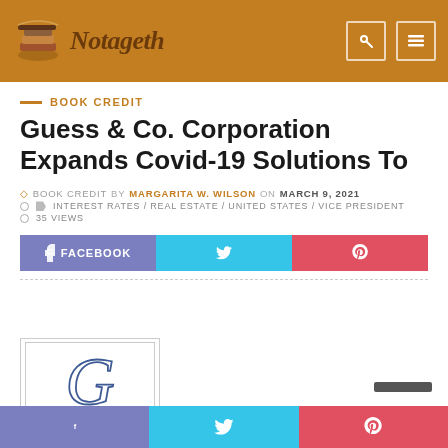Notageth
BOOK CREDIT
Guess & Co. Corporation Expands Covid-19 Solutions To
BOOK CREDIT by MARGARITA W. WILSON on MARCH 9, 2021
INTEREST RATES / REAL ESTATE / UNITED STATES / VICE PRESIDENT
35 VIEWS
FACEBOOK
[Figure (logo): Guess & Co. Corporation logo — decorative cursive G with stylized plant/grass motif below, inside a rectangular border]
Social share footer bar with Facebook, Twitter, and Pinterest icons